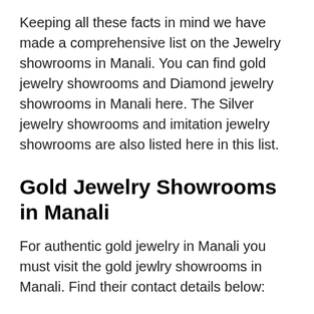Keeping all these facts in mind we have made a comprehensive list on the Jewelry showrooms in Manali. You can find gold jewelry showrooms and Diamond jewelry showrooms in Manali here. The Silver jewelry showrooms and imitation jewelry showrooms are also listed here in this list.
Gold Jewelry Showrooms in Manali
For authentic gold jewelry in Manali you must visit the gold jewlry showrooms in Manali. Find their contact details below:
Crown Jewellers
Address:
Siali Mahadev Market